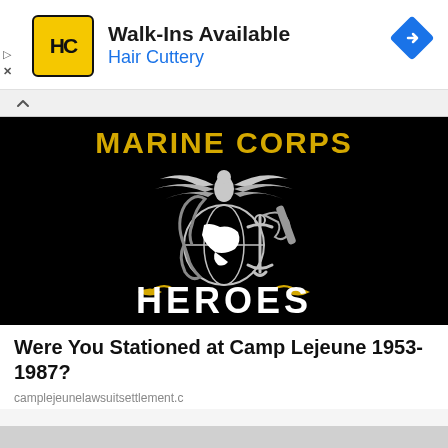[Figure (logo): Hair Cuttery advertisement banner with HC logo in yellow/black, text 'Walk-Ins Available' and 'Hair Cuttery', blue navigation diamond icon top right, play and X controls on left]
[Figure (photo): Black background image with Marine Corps Eagle Globe and Anchor emblem in white/gold, text 'MARINE CORPS' in yellow at top, 'HEROES' in large white letters at bottom with gold rope decorations]
Were You Stationed at Camp Lejeune 1953-1987?
camplejeunelawsuitsettlement.c